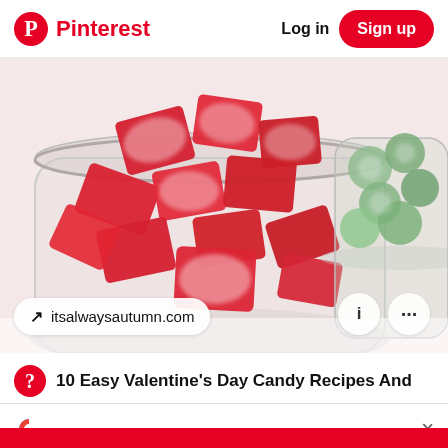Pinterest  Log in  Sign up
[Figure (photo): A glass jar filled with red sugared candy pieces, with another jar of green candy partially visible in the background. Overlay buttons: 'itsalwaysautumn.com' pill link, info (i) circle button, and more (...) circle button.]
10 Easy Valentine's Day Candy Recipes And
G  ×